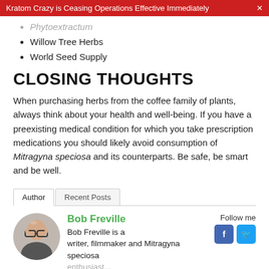Kratom Crazy is Ceasing Operations Effective Immediately ✕
Phytoextractum (partial, cut off)
Willow Tree Herbs
World Seed Supply
CLOSING THOUGHTS
When purchasing herbs from the coffee family of plants, always think about your health and well-being. If you have a preexisting medical condition for which you take prescription medications you should likely avoid consumption of Mitragyna speciosa and its counterparts. Be safe, be smart and be well.
Author  Recent Posts
Bob Freville — Bob Freville is a writer, filmmaker and Mitragyna speciosa enthusiast...